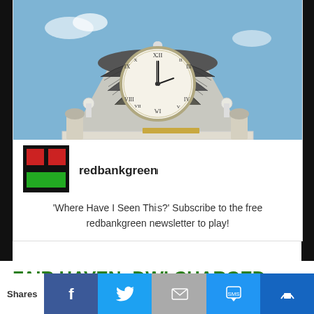[Figure (photo): Clock tower of a building with Roman numeral clock face, shingled dome roof, white ornamentation, blue sky background]
[Figure (logo): redbankgreen logo: red and green squares on black background]
redbankgreen
'Where Have I Seen This?' Subscribe to the free redbankgreen newsletter to play!
FAIR HAVEN: DWI CHARGED AFTER ACCIDENT
Recent activity reports, unedited, as provided by the Fair Haven Police Department.
Shares